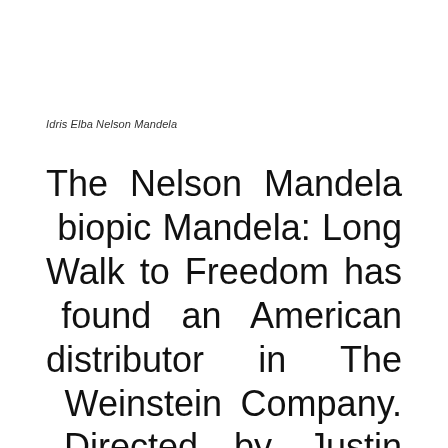Idris Elba Nelson Mandela
The Nelson Mandela biopic Mandela: Long Walk to Freedom has found an American distributor in The Weinstein Company. Directed by Justin Chadwick (The Other Boleyn Girl), the film stars Idris Elba (Luther) as Mandela and Naomie Harris